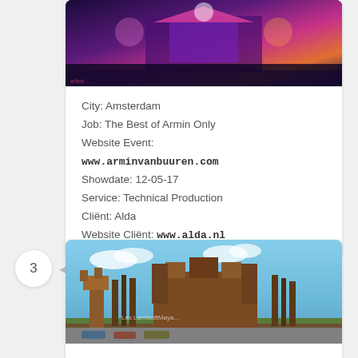[Figure (photo): Concert stage photo for Armin van Buuren event with colorful lights]
City: Amsterdam
Job: The Best of Armin Only
Website Event:
www.arminvanbuuren.com
Showdate: 12-05-17
Service: Technical Production
Cliënt: Alda
Website Cliënt: www.alda.nl
3
[Figure (photo): Outdoor festival stage structure in Barcelona for Daydream Festival]
City: Barcelona
Job: Daydream Festival –